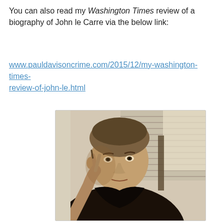You can also read my Washington Times review of a biography of John le Carre via the below link:
www.pauldavisoncrime.com/2015/12/my-washington-times-review-of-john-le.html
[Figure (photo): Black and white/color photograph of a middle-aged man in a dark shirt, holding something (possibly a pen or cigarette) near his face, with window blinds visible in the background.]